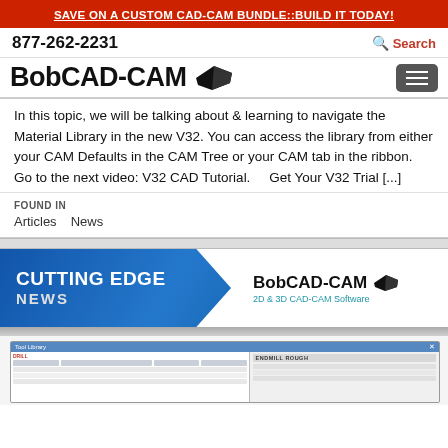SAVE ON A CUSTOM CAD-CAM BUNDLE::BUILD IT TODAY!
877-262-2231    Search
BobCAD-CAM
In this topic, we will be talking about & learning to navigate the Material Library in the new V32. You can access the library from either your CAM Defaults in the CAM Tree or your CAM tab in the ribbon.   Go to the next video: V32 CAD Tutorial.     Get Your V32 Trial [...]
FOUND IN
Articles   News
[Figure (screenshot): BobCAD-CAM Cutting Edge News banner with blue angled block on left showing 'CUTTING EDGE NEWS' text, and BobCAD-CAM logo with '2D & 3D CAD-CAM Software' text on right]
[Figure (screenshot): Partial screenshot of BobCAD-CAM Tool Library software interface showing drill tool list with columns for Tool Number, Tool Label, Diameter, Corner Radius, and other parameters, alongside an ENDMILL ROUGH panel]